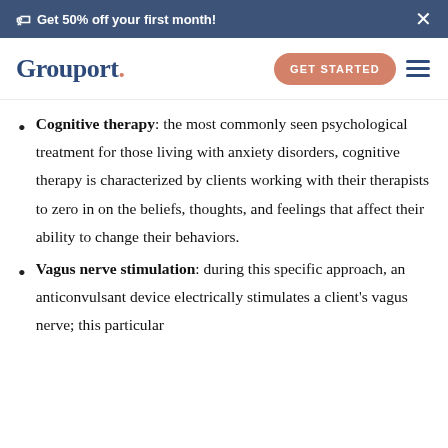Get 50% off your first month!
[Figure (logo): Grouport logo with GET STARTED button and hamburger menu]
Cognitive therapy: the most commonly seen psychological treatment for those living with anxiety disorders, cognitive therapy is characterized by clients working with their therapists to zero in on the beliefs, thoughts, and feelings that affect their ability to change their behaviors.
Vagus nerve stimulation: during this specific approach, an anticonvulsant device electrically stimulates a client's vagus nerve; this particular